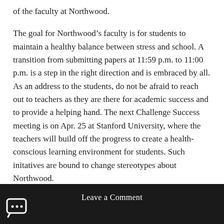of the faculty at Northwood.
The goal for Northwood’s faculty is for students to maintain a healthy balance between stress and school. A transition from submitting papers at 11:59 p.m. to 11:00 p.m. is a step in the right direction and is embraced by all. As an address to the students, do not be afraid to reach out to teachers as they are there for academic success and to provide a helping hand. The next Challenge Success meeting is on Apr. 25 at Stanford University, where the teachers will build off the progress to create a health-conscious learning environment for students. Such initatives are bound to change stereotypes about Northwood.
Leave a Comment